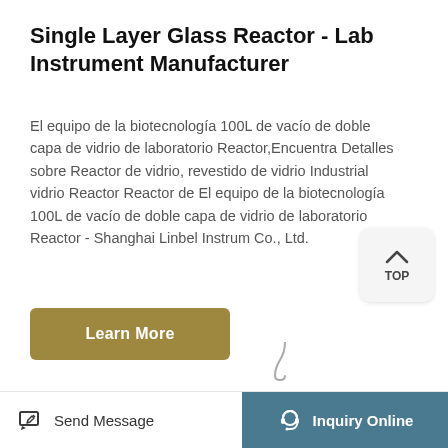Single Layer Glass Reactor - Lab Instrument Manufacturer
El equipo de la biotecnología 100L de vacío de doble capa de vidrio de laboratorio Reactor,Encuentra Detalles sobre Reactor de vidrio, revestido de vidrio Industrial vidrio Reactor Reactor de El equipo de la biotecnología 100L de vacío de doble capa de vidrio de laboratorio Reactor - Shanghai Linbel Instrum Co., Ltd.
[Figure (other): TOP navigation button with upward chevron arrow]
[Figure (other): Learn More button in dark gold/olive color]
Send Message   Inquiry Online